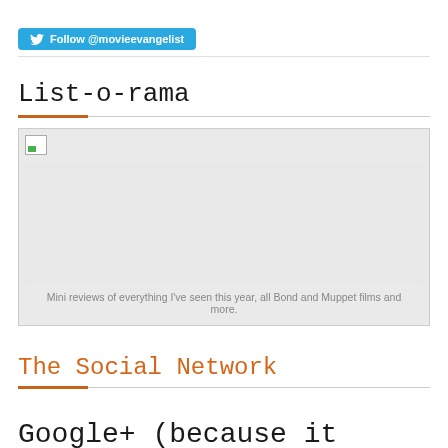Follow @movieevangelist
List-o-rama
[Figure (photo): Broken image placeholder with gray background]
Mini reviews of everything I've seen this year, all Bond and Muppet films and more.
The Social Network
Google+ (because it seems to be